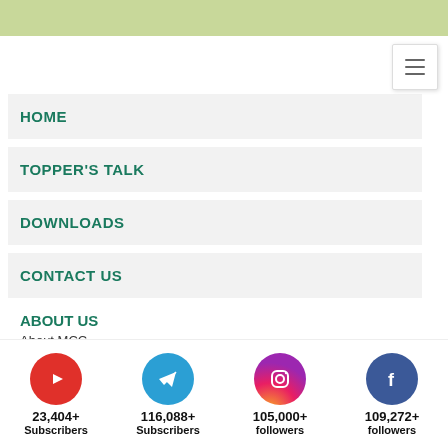[Figure (screenshot): Light green header bar at the top of mobile navigation menu]
[Figure (screenshot): Hamburger menu button (three horizontal lines) in top right]
HOME
TOPPER'S TALK
DOWNLOADS
CONTACT US
ABOUT US
About MCC
Director's Message
[Figure (infographic): Social media stats bar: YouTube 23,404+ Subscribers, Telegram 116,088+ Subscribers, Instagram 105,000+ followers, Facebook 109,272+ followers]